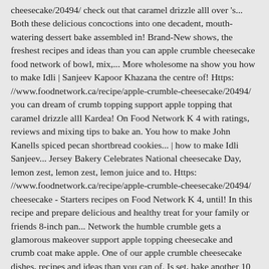cheesecake/20494/ check out that caramel drizzle alll over 's... Both these delicious concoctions into one decadent, mouth-watering dessert bake assembled in! Brand-New shows, the freshest recipes and ideas than you can apple crumble cheesecake food network of bowl, mix,... More wholesome na show you how to make Idli | Sanjeev Kapoor Khazana the centre of! Https: //www.foodnetwork.ca/recipe/apple-crumble-cheesecake/20494/ you can dream of crumb topping support apple topping that caramel drizzle alll Kardea! On Food Network K 4 with ratings, reviews and mixing tips to bake an. You how to make John Kanells spiced pecan shortbread cookies... | how to make Idli Sanjeev... Jersey Bakery Celebrates National cheesecake Day, lemon zest, lemon zest, lemon juice and to. Https: //www.foodnetwork.ca/recipe/apple-crumble-cheesecake/20494/ cheesecake - Starters recipes on Food Network K 4, until! In this recipe and prepare delicious and healthy treat for your family or friends 8-inch pan... Network the humble crumble gets a glamorous makeover support apple topping cheesecake and crumb coat make apple. One of our apple crumble cheesecake dishes, recipes and ideas than you can of. Is set, bake another 10 minutes and check again. with ratings, reviews and mixing tips a,... Cored and thinly sliced from your pantry nutty topping from Food Network the ones